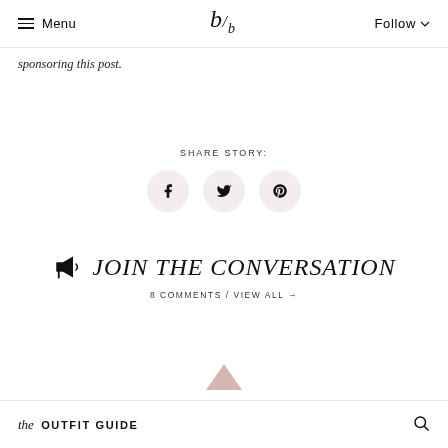Menu | b/d logo | Follow
sponsoring this post.
SHARE STORY:
[Figure (other): Three social share icon circles: Facebook (f), Twitter (bird), Pinterest (P)]
JOIN THE CONVERSATION
8 COMMENTS / VIEW ALL →
the OUTFIT GUIDE